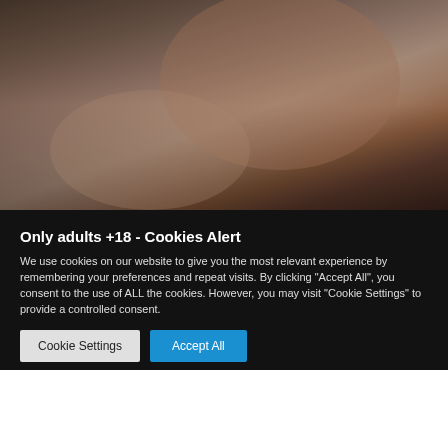[Figure (photo): Close-up photo showing skin/body, dark and warm tones, top portion of page]
Only adults +18 - Cookies Alert
We use cookies on our website to give you the most relevant experience by remembering your preferences and repeat visits. By clicking "Accept All", you consent to the use of ALL the cookies. However, you may visit "Cookie Settings" to provide a controlled consent.
Cookie Settings | Accept All
[Figure (photo): Close-up photo showing skin/body, warm pinkish tones, bottom portion of page]